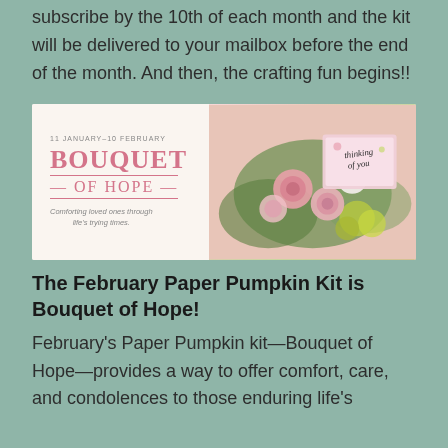subscribe by the 10th of each month and the kit will be delivered to your mailbox before the end of the month. And then, the crafting fun begins!!
[Figure (photo): Promotional banner for 'Bouquet of Hope' Paper Pumpkin kit. Left side shows text '11 JANUARY–10 FEBRUARY', 'BOUQUET OF HOPE', 'Comforting loved ones through life's trying times.' on a white background. Right side shows a floral arrangement of pink roses, white flowers, and greenery with a pink 'thinking of you' card.]
The February Paper Pumpkin Kit is Bouquet of Hope!
February's Paper Pumpkin kit—Bouquet of Hope—provides a way to offer comfort, care, and condolences to those enduring life's